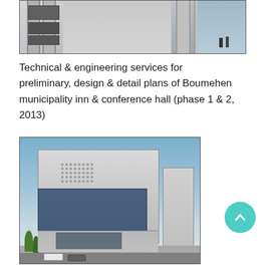[Figure (photo): Architectural rendering of a large modern building with white columns and facade, two figures standing near entrance, partial view cropped at top]
Technical & engineering services for preliminary, design & detail plans of Boumehen municipality inn & conference hall (phase 1 & 2, 2013)
[Figure (photo): Architectural rendering of Boumehen commercial complex, a modern multi-story building with glass facade, perforated white upper panels, trees and cars in foreground]